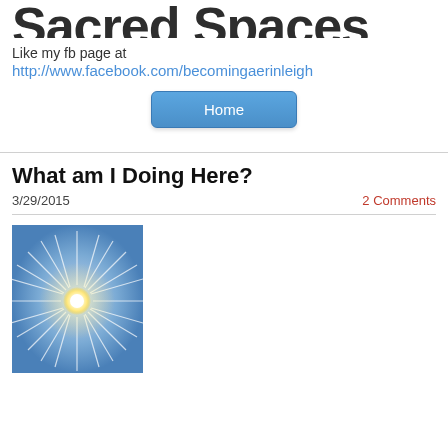Sacred Spaces
Like my fb page at
http://www.facebook.com/becomingaerinleigh
[Figure (other): Home button - blue rounded rectangle button with text 'Home']
What am I Doing Here?
3/29/2015
2 Comments
[Figure (photo): Photo of a bright starburst sun with light rays radiating outward against a blue sky background]